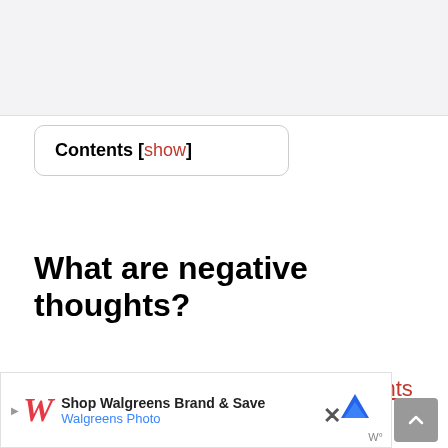[Figure (other): Top gray bar area, likely a website header region]
Contents [show]
What are negative thoughts?
We have an average of 6,000 thoughts per day. With this many thoughts whirring through our minds, some of these will invariably be on the
[Figure (other): Advertisement banner: Shop Walgreens Brand & Save - Walgreens Photo, with navigation icon, close button, and weather widget icon]